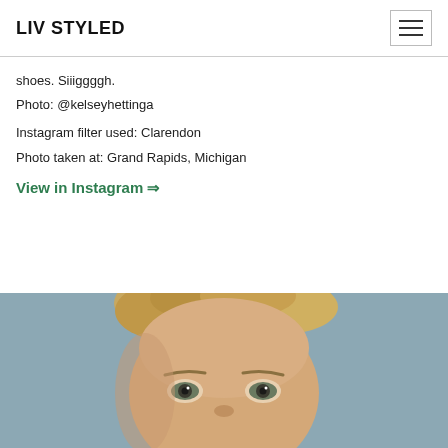LIV STYLED
shoes. Siiiggggh.
Photo: @kelseyhettinga
Instagram filter used: Clarendon
Photo taken at: Grand Rapids, Michigan
View in Instagram ⇒
[Figure (photo): Close-up photo of a child's face with curly blonde hair, looking up at the camera, against a grey-blue background]